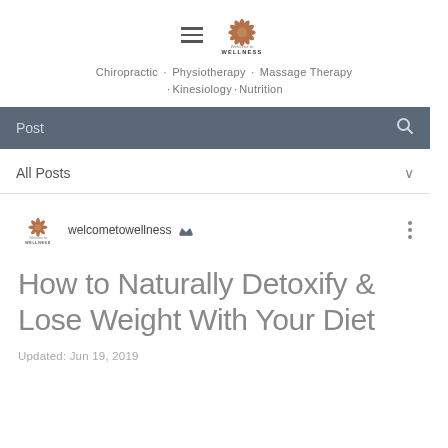Welcome to WELLNESS · Chiropractic · Physiotherapy · Massage Therapy · Kinesiology · Nutrition
Post
All Posts
welcometowellness
How to Naturally Detoxify & Lose Weight With Your Diet
Updated: Jun 19, 2019